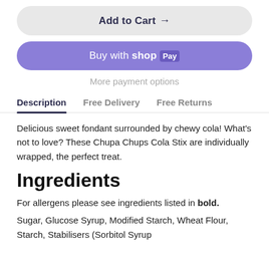Add to Cart →
Buy with shop Pay
More payment options
Description   Free Delivery   Free Returns
Delicious sweet fondant surrounded by chewy cola! What's not to love? These Chupa Chups Cola Stix are individually wrapped, the perfect treat.
Ingredients
For allergens please see ingredients listed in bold.
Sugar, Glucose Syrup, Modified Starch, Wheat Flour, Starch, Stabilisers (Sorbitol Syrup...